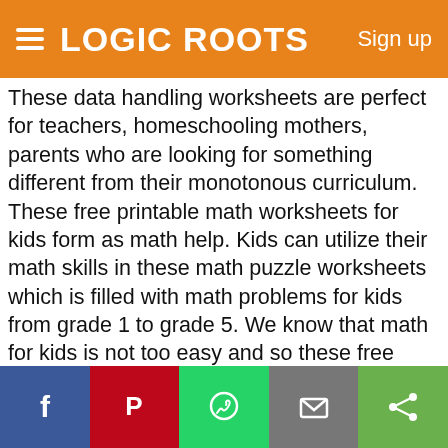LOGIC ROOTS | Sign up
These data handling worksheets are perfect for teachers, homeschooling mothers, parents who are looking for something different from their monotonous curriculum. These free printable math worksheets for kids form as math help. Kids can utilize their math skills in these math puzzle worksheets which is filled with math problems for kids from grade 1 to grade 5. We know that math for kids is not too easy and so these free math worksheets will provide right kind of math practice. Download these fun math worksheets which are free printable worksheets. You can also directly print these math practice worksheets. Use them today and get math practicing started! Simply click the print button and get set to help your kids master in math!
Why do you really need these worksheets?
Story powered: As each of these worksheets is bounded
Facebook | Pinterest | WhatsApp | Email | Share